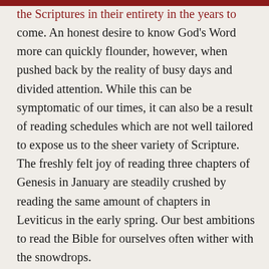the Scriptures in their entirety in the years to come. An honest desire to know God's Word more can quickly flounder, however, when pushed back by the reality of busy days and divided attention. While this can be symptomatic of our times, it can also be a result of reading schedules which are not well tailored to expose us to the sheer variety of Scripture. The freshly felt joy of reading three chapters of Genesis in January are steadily crushed by reading the same amount of chapters in Leviticus in the early spring. Our best ambitions to read the Bible for ourselves often wither with the snowdrops.